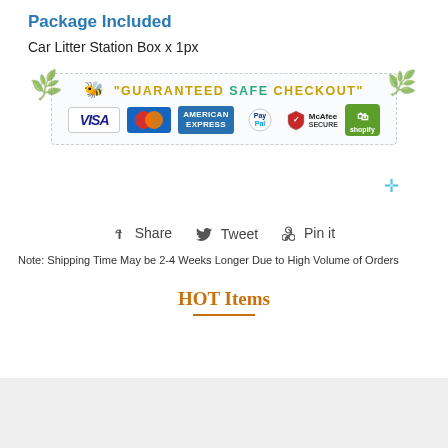Package Included
Car Litter Station Box x 1px
[Figure (infographic): Guaranteed Safe Checkout banner showing payment logos: Visa, Mastercard, American Express, PayPal, McAfee Secure, Shopify Secure, surrounded by floral decorations]
Share   Tweet   Pin it
Note: Shipping Time May be 2-4 Weeks Longer Due to High Volume of Orders
HOT Items